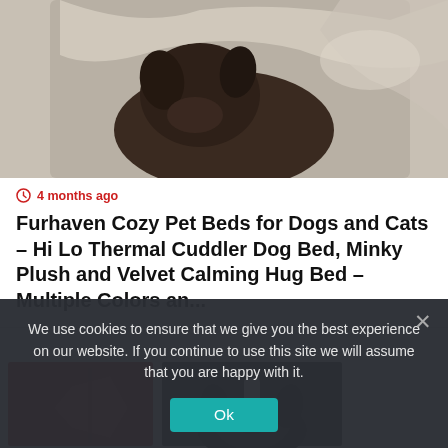[Figure (photo): Dog wrapped in cozy beige/grey blanket or pet bed, viewed from above, dark brown dog snuggled in soft fabric]
4 months ago
Furhaven Cozy Pet Beds for Dogs and Cats – Hi Lo Thermal Cuddler Dog Bed, Minky Plush and Velvet Calming Hug Bed – Multiple Colors an...
[Figure (photo): Partial view of lower article images: red item on left, black dog looking up on right]
We use cookies to ensure that we give you the best experience on our website. If you continue to use this site we will assume that you are happy with it.